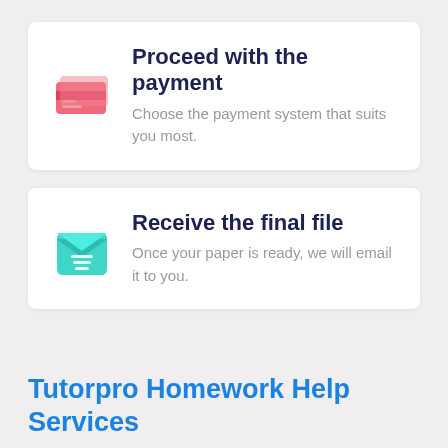Proceed with the payment
Choose the payment system that suits you most.
Receive the final file
Once your paper is ready, we will email it to you.
Tutorpro Homework Help Services